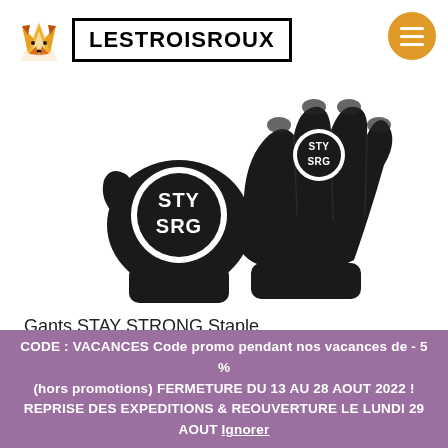LESTROISROUX
[Figure (photo): Two black cycling gloves (STAY STRONG / STY SRG branding) shown palm-up and palm-down against a white background.]
Gants STAY STRONG Staple
24,99€
CODE : VACANCES Code promo pendant nos vacances de - 5 % (hors promotions) FERMETURE DU 13 AU 28 AOUT 2022 ! REPRISE DES EXPEDITIONS & REOUVERTURE LE LUNDI 29 AOUT Ignorer